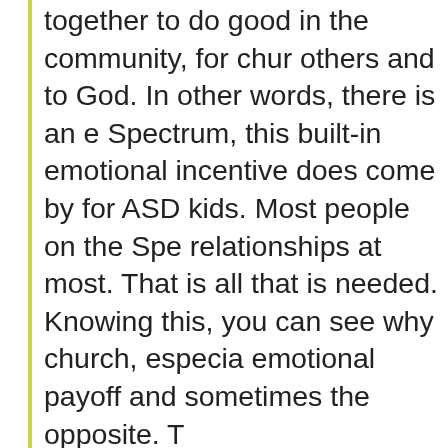together to do good in the community, for others and to God. In other words, there is an e Spectrum, this built-in emotional incentive does come by for ASD kids. Most people on the Spe relationships at most. That is all that is needed. Knowing this, you can see why church, especia emotional payoff and sometimes the opposite.
So what does this all tell us as a religious comm Well, here are some ideas as we come to a clo
Autism teaches us that a spirit of acceptance, fl nothing worse than being expected to give com neurologically possible. As I said last week, dive people approach the world, is a given. We shou accordingly. With openness, curiosity, and nonj
Secondly, on a very practical level, Autism teac Spectrum usually want routine. Thus, sticking w regular, structured, routine Liturgy and Order of